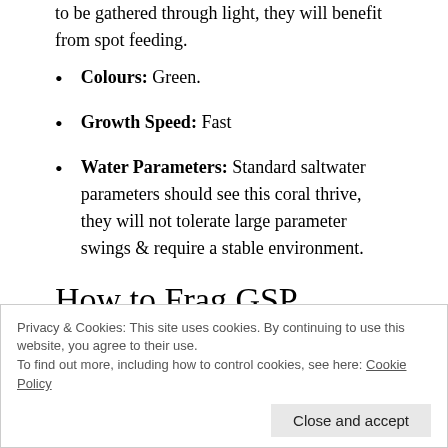to be gathered through light, they will benefit from spot feeding.
Colours: Green.
Growth Speed: Fast
Water Parameters: Standard saltwater parameters should see this coral thrive, they will not tolerate large parameter swings & require a stable environment.
How to Frag GSP
Green Star Polyp corals are one of the easiest corals to
Privacy & Cookies: This site uses cookies. By continuing to use this website, you agree to their use. To find out more, including how to control cookies, see here: Cookie Policy
the GSP to grow over the rubble. You can then use a